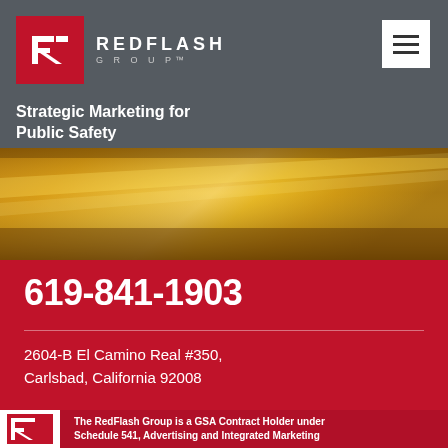REDFLASH GROUP
Strategic Marketing for Public Safety
[Figure (photo): Close-up photo of golden/amber colored surface, likely a fire helmet or metallic object with warm lighting]
619-841-1903
2604-B El Camino Real #350, Carlsbad, California 92008
The RedFlash Group is a GSA Contract Holder under Schedule 541, Advertising and Integrated Marketing